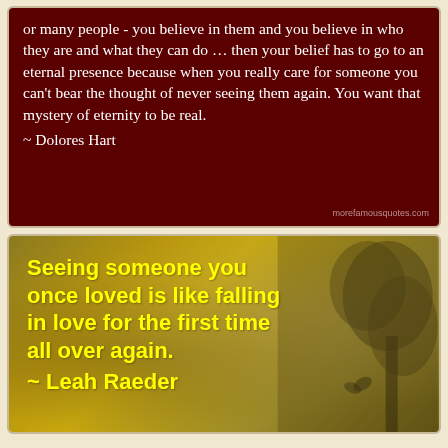[Figure (infographic): Dark red/maroon background quote card with white text quoting Dolores Hart about belief, eternity, and caring for people. Watermark 'morefamousquotes.com' in bottom right.]
or many people - you believe in them and you believe in who they are and what they can do … then your belief has to go to an eternal presence because when you really care for someone you can't bear the thought of never seeing them again. You want that mystery of eternity to be real.
 ~ Dolores Hart
[Figure (infographic): Autumn/golden bokeh background with a dark tree silhouette on the right side and bold yellow text quoting Leah Raeder about seeing someone you once loved.]
Seeing someone you once loved is like falling in love for the first time all over again.
 ~ Leah Raeder